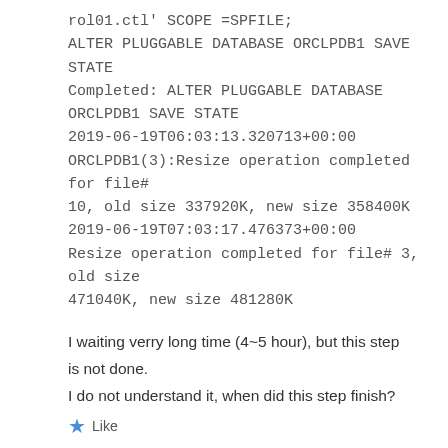rol01.ctl' SCOPE =SPFILE;
ALTER PLUGGABLE DATABASE ORCLPDB1 SAVE STATE
Completed: ALTER PLUGGABLE DATABASE ORCLPDB1 SAVE STATE
2019-06-19T06:03:13.320713+00:00
ORCLPDB1(3):Resize operation completed for file# 10, old size 337920K, new size 358400K
2019-06-19T07:03:17.476373+00:00
Resize operation completed for file# 3, old size 471040K, new size 481280K
I waiting verry long time (4~5 hour), but this step is not done.
I do not understand it, when did this step finish?
Like